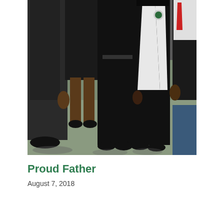[Figure (photo): A photograph showing a group of people standing together, some wearing black graduation gowns and white sashes, taken at what appears to be a graduation ceremony indoors on a green floor.]
Proud Father
August 7, 2018